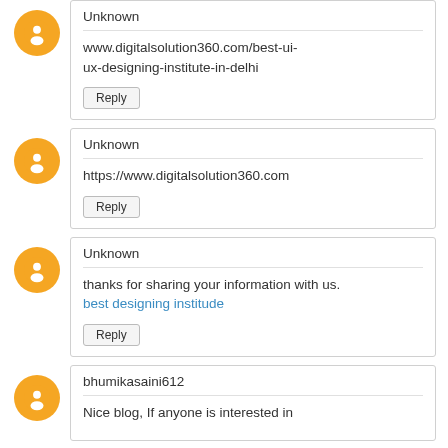Unknown
www.digitalsolution360.com/best-ui-ux-designing-institute-in-delhi
Reply
Unknown
https://www.digitalsolution360.com
Reply
Unknown
thanks for sharing your information with us.
best designing institude
Reply
bhumikasaini612
Nice blog, If anyone is interested in